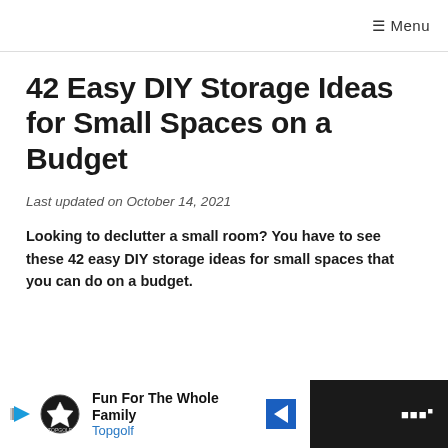≡ Menu
42 Easy DIY Storage Ideas for Small Spaces on a Budget
Last updated on October 14, 2021
Looking to declutter a small room? You have to see these 42 easy DIY storage ideas for small spaces that you can do on a budget.
[Figure (other): Advertisement banner: Fun For The Whole Family - Topgolf, with Topgolf logo and navigation arrow icon. Dark background on sides.]